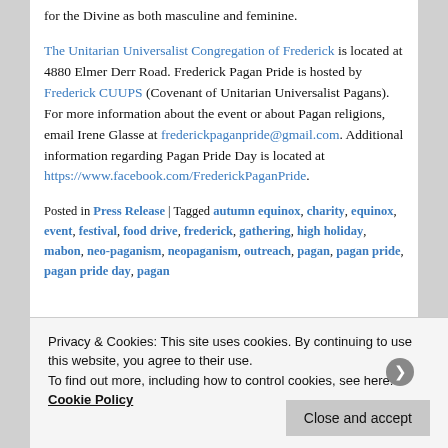for the Divine as both masculine and feminine. The Unitarian Universalist Congregation of Frederick is located at 4880 Elmer Derr Road. Frederick Pagan Pride is hosted by Frederick CUUPS (Covenant of Unitarian Universalist Pagans). For more information about the event or about Pagan religions, email Irene Glasse at frederickpaganpride@gmail.com. Additional information regarding Pagan Pride Day is located at https://www.facebook.com/FrederickPaganPride.
Posted in Press Release | Tagged autumn equinox, charity, equinox, event, festival, food drive, frederick, gathering, high holiday, mabon, neo-paganism, neopaganism, outreach, pagan, pagan pride, pagan pride day, pagan
Privacy & Cookies: This site uses cookies. By continuing to use this website, you agree to their use. To find out more, including how to control cookies, see here: Cookie Policy